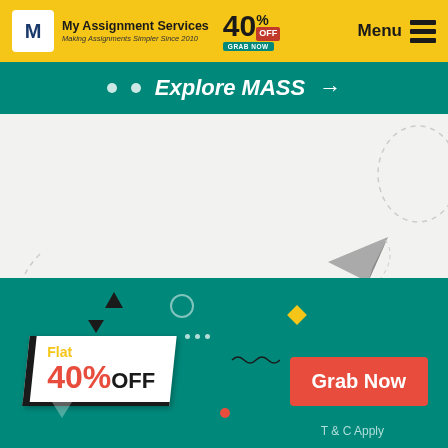My Assignment Services — Making Assignments Simpler Since 2010 | 40% OFF | Menu
Explore MASS →
TODAY'S SPECIAL
#FLAT40
$60 Per 1000 Words
[Figure (infographic): Flat 40% OFF promotional badge on teal background with Grab Now button and T & C Apply text]
Flat 40% OFF
Grab Now
T & C Apply